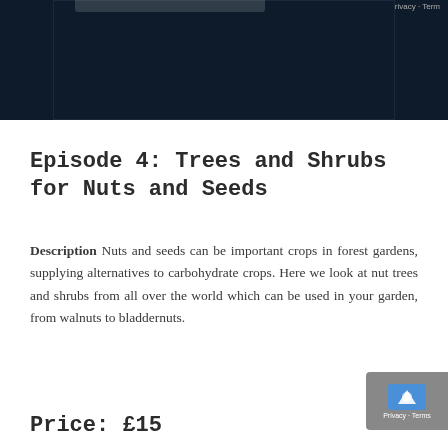[Figure (screenshot): Dark navy blue screenshot/video thumbnail block at top of page]
Episode 4: Trees and Shrubs for Nuts and Seeds
Description Nuts and seeds can be important crops in forest gardens, supplying alternatives to carbohydrate crops. Here we look at nut trees and shrubs from all over the world which can be used in your garden, from walnuts to bladdernuts.
Price: £15